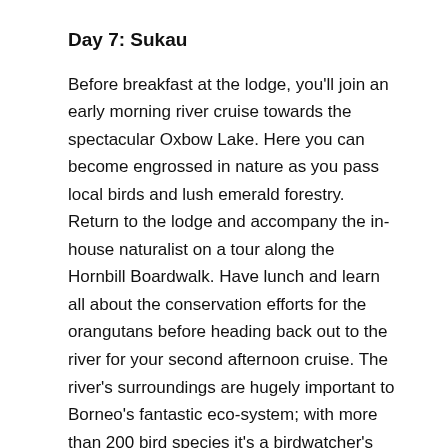Day 7: Sukau
Before breakfast at the lodge, you'll join an early morning river cruise towards the spectacular Oxbow Lake. Here you can become engrossed in nature as you pass local birds and lush emerald forestry. Return to the lodge and accompany the in-house naturalist on a tour along the Hornbill Boardwalk. Have lunch and learn all about the conservation efforts for the orangutans before heading back out to the river for your second afternoon cruise. The river's surroundings are hugely important to Borneo's fantastic eco-system; with more than 200 bird species it's a birdwatcher's paradise, and the wildlife nearby is superb. As you glide along the river, look out for proboscis monkeys and Bornean gibbons, as well as smaller pygmy elephants and Bornean bearded pigs.